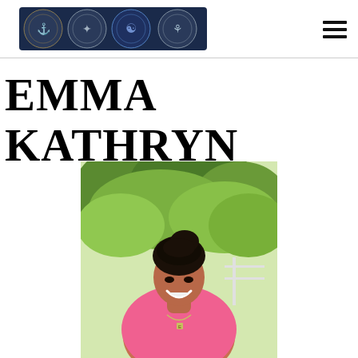Logo with circular emblems and hamburger menu
EMMA KATHRYN
[Figure (photo): A smiling woman with dark hair pulled up, wearing a pink top and a necklace with the letter E, standing outdoors in front of green trees and foliage on a sunny day.]